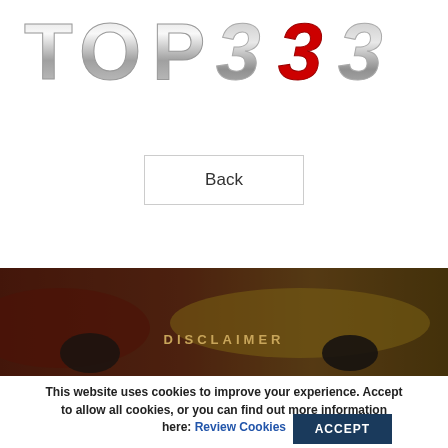[Figure (logo): TOP 333 logo with chrome metallic lettering and red/silver numbers]
Back
[Figure (photo): Background image of sports cars (red and yellow) with dark overlay and DISCLAIMER text]
This website uses cookies to improve your experience. Accept to allow all cookies, or you can find out more information here: Review Cookies
ACCEPT